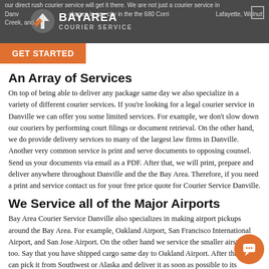our direct rush courier service will get it there. We are not just a courier service in Danville, CA, but can deliver packages in any city in the 680 Corridor, including Danville, Lafayette, Walnut Creek, and
[Figure (logo): Bay Area Courier Service logo with arrow icon]
An Array of Services
On top of being able to deliver any package same day we also specialize in a variety of different courier services. If you're looking for a legal courier service in Danville we can offer you some limited services. For example, we don't slow down our couriers by performing court filings or document retrieval. On the other hand, we do provide delivery services to many of the largest law firms in Danville. Another very common service is print and serve documents to opposing counsel. Send us your documents via email as a PDF. After that, we will print, prepare and deliver anywhere throughout Danville and the the Bay Area. Therefore, if you need a print and service contact us for your free price quote for Courier Service Danville.
We Service all of the Major Airports
Bay Area Courier Service Danville also specializes in making airport pickups around the Bay Area. For example, Oakland Airport, San Francisco International Airport, and San Jose Airport. On the other hand we service the smaller airstrips too. Say that you have shipped cargo same day to Oakland Airport. After that, we can pick it from Southwest or Alaska and deliver it as soon as possible to its destination.
Go with the right team of Professionals.